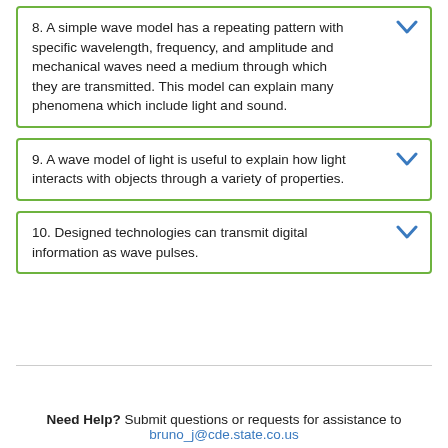8. A simple wave model has a repeating pattern with specific wavelength, frequency, and amplitude and mechanical waves need a medium through which they are transmitted. This model can explain many phenomena which include light and sound.
9. A wave model of light is useful to explain how light interacts with objects through a variety of properties.
10. Designed technologies can transmit digital information as wave pulses.
Need Help? Submit questions or requests for assistance to bruno_j@cde.state.co.us